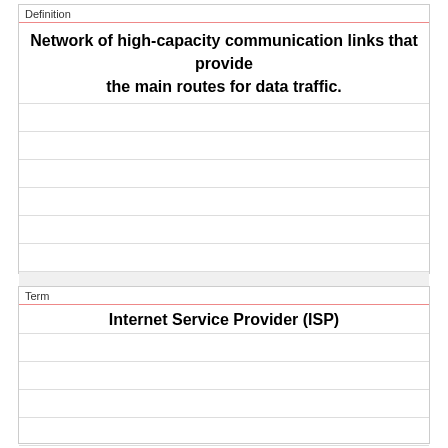Definition
Network of high-capacity communication links that provide the main routes for data traffic.
Term
Internet Service Provider (ISP)